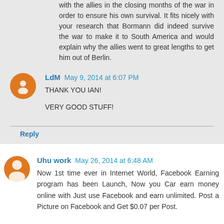with the allies in the closing months of the war in order to ensure his own survival. It fits nicely with your research that Bormann did indeed survive the war to make it to South America and would explain why the allies went to great lengths to get him out of Berlin.
LdM May 9, 2014 at 6:07 PM
THANK YOU IAN!

VERY GOOD STUFF!
Reply
Uhu work May 26, 2014 at 6:48 AM
Now 1st time ever in Internet World, Facebook Earning program has been Launch, Now you Car earn money online with Just use Facebook and earn unlimited. Post a Picture on Facebook and Get $0.07 per Post.